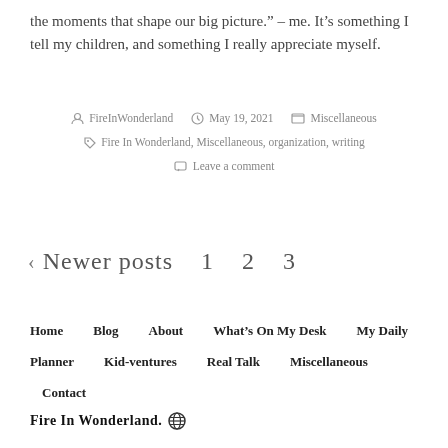the moments that shape our big picture.” – me. It’s something I tell my children, and something I really appreciate myself.
FireInWonderland  May 19, 2021  Miscellaneous
Fire In Wonderland, Miscellaneous, organization, writing
Leave a comment
< Newer posts  1  2  3
Home  Blog  About  What’s On My Desk  My Daily Planner  Kid-ventures  Real Talk  Miscellaneous  Contact
Fire In Wonderland